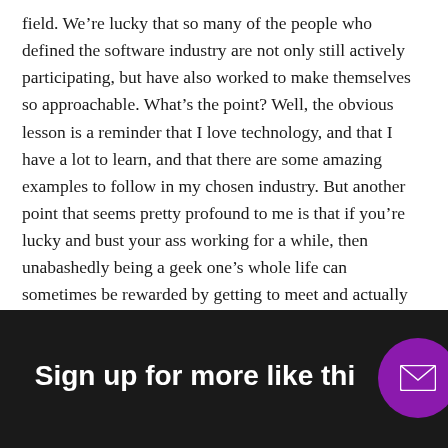field. We're lucky that so many of the people who defined the software industry are not only still actively participating, but have also worked to make themselves so approachable. What's the point? Well, the obvious lesson is a reminder that I love technology, and that I have a lot to learn, and that there are some amazing examples to follow in my chosen industry. But another point that seems pretty profound to me is that if you're lucky and bust your ass working for a while, then unabashedly being a geek one's whole life can sometimes be rewarded by getting to meet and actually talk to one's heroes. That's a pretty damned nice perk.
Sign up for more like this